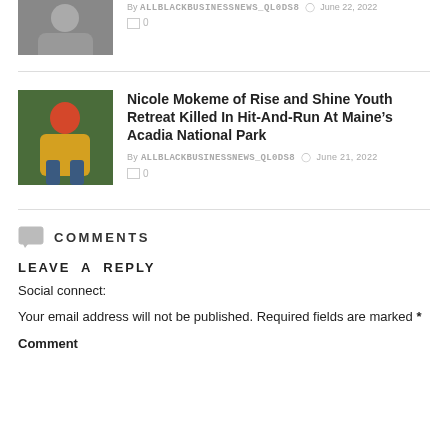[Figure (photo): Partial photo of a person in a gray jacket, cropped at top of page]
By ALLBLACKBUSINESSNEWS_QL0DS8 ○ June 22, 2022
□ 0
[Figure (photo): Woman in yellow jacket and red hat standing outdoors]
Nicole Mokeme of Rise and Shine Youth Retreat Killed In Hit-And-Run At Maine’s Acadia National Park
By ALLBLACKBUSINESSNEWS_QL0DS8 ○ June 21, 2022
□ 0
COMMENTS
LEAVE A REPLY
Social connect:
Your email address will not be published. Required fields are marked *
Comment